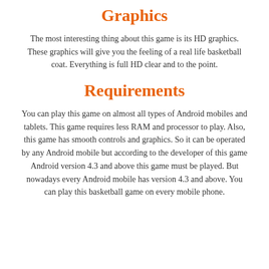Graphics
The most interesting thing about this game is its HD graphics. These graphics will give you the feeling of a real life basketball coat. Everything is full HD clear and to the point.
Requirements
You can play this game on almost all types of Android mobiles and tablets. This game requires less RAM and processor to play. Also, this game has smooth controls and graphics. So it can be operated by any Android mobile but according to the developer of this game Android version 4.3 and above this game must be played. But nowadays every Android mobile has version 4.3 and above. You can play this basketball game on every mobile phone.